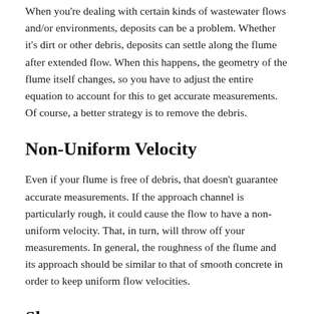When you're dealing with certain kinds of wastewater flows and/or environments, deposits can be a problem. Whether it's dirt or other debris, deposits can settle along the flume after extended flow. When this happens, the geometry of the flume itself changes, so you have to adjust the entire equation to account for this to get accurate measurements. Of course, a better strategy is to remove the debris.
Non-Uniform Velocity
Even if your flume is free of debris, that doesn't guarantee accurate measurements. If the approach channel is particularly rough, it could cause the flow to have a non-uniform velocity. That, in turn, will throw off your measurements. In general, the roughness of the flume and its approach should be similar to that of smooth concrete in order to keep uniform flow velocities.
Slope
The slope of a Palmer-Bowlus flume has to be specifically set to the flow rate to ensure the control point is at the downstream edge of the throat. If the slope extends too far down in the flow's direction, that control point will move upstream. You'll have to calibrate it in the